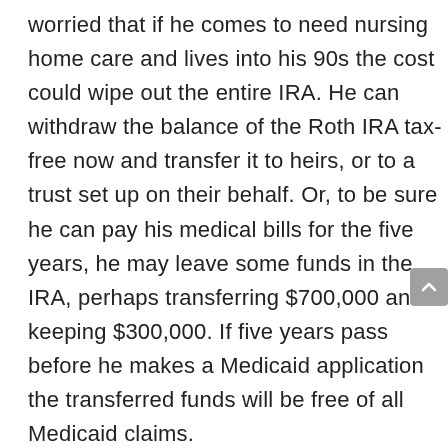worried that if he comes to need nursing home care and lives into his 90s the cost could wipe out the entire IRA. He can withdraw the balance of the Roth IRA tax-free now and transfer it to heirs, or to a trust set up on their behalf. Or, to be sure he can pay his medical bills for the five years, he may leave some funds in the IRA, perhaps transferring $700,000 and keeping $300,000. If five years pass before he makes a Medicaid application the transferred funds will be free of all Medicaid claims.